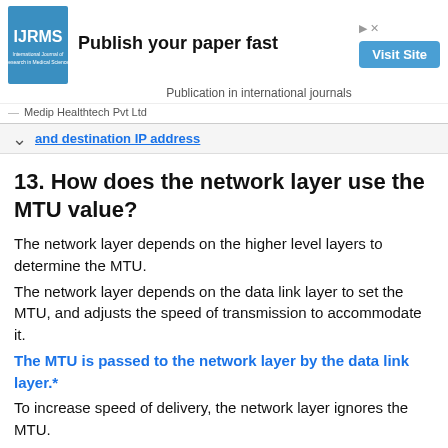[Figure (other): IJRMS advertisement banner with logo, 'Publish your paper fast', 'Visit Site' button, and 'Publication in international journals' subtitle. Publisher: Medip Healthtech Pvt Ltd]
and destination IP address
13. How does the network layer use the MTU value?
The network layer depends on the higher level layers to determine the MTU.
The network layer depends on the data link layer to set the MTU, and adjusts the speed of transmission to accommodate it.
The MTU is passed to the network layer by the data link layer.*
To increase speed of delivery, the network layer ignores the MTU.
14. Which characteristic describes an